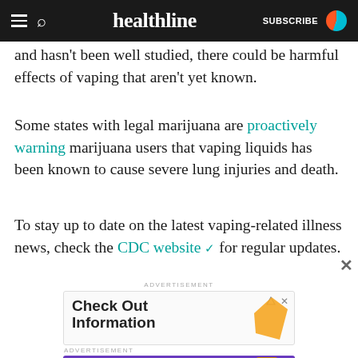healthline | SUBSCRIBE
and hasn't been well studied, there could be harmful effects of vaping that aren't yet known.
Some states with legal marijuana are proactively warning marijuana users that vaping liquids has been known to cause severe lung injuries and death.
To stay up to date on the latest vaping-related illness news, check the CDC website for regular updates.
[Figure (screenshot): Advertisement banner showing 'Check Out Information' text with an orange geometric shape on the right side, and a smaller purple banner below for MedTerra CBD '$50 gift card' promotion.]